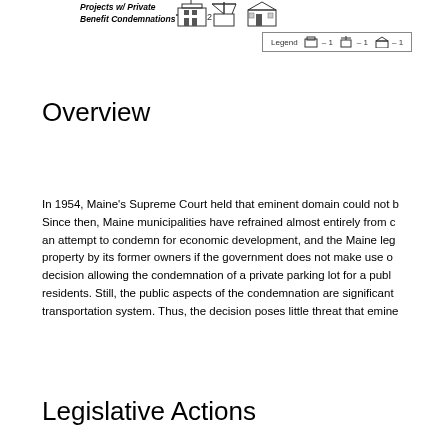[Figure (infographic): Map icons and legend showing 'Projects w/ Private Benefit Condemnations' with building/facility icons and a legend key]
Overview
In 1954, Maine's Supreme Court held that eminent domain could not be used... Since then, Maine municipalities have refrained almost entirely from condemning... an attempt to condemn for economic development, and the Maine leg... property by its former owners if the government does not make use of... decision allowing the condemnation of a private parking lot for a publ... residents. Still, the public aspects of the condemnation are significant... transportation system. Thus, the decision poses little threat that emine...
Legislative Actions